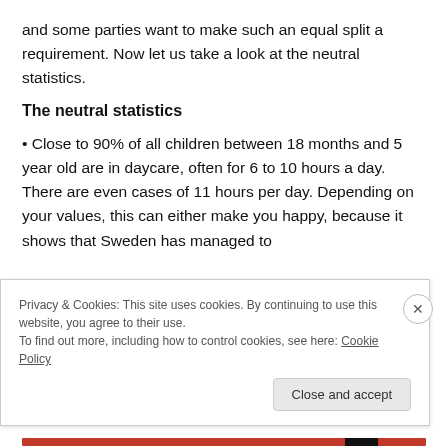and some parties want to make such an equal split a requirement. Now let us take a look at the neutral statistics.
The neutral statistics
• Close to 90% of all children between 18 months and 5 year old are in daycare, often for 6 to 10 hours a day. There are even cases of 11 hours per day. Depending on your values, this can either make you happy, because it shows that Sweden has managed to
Privacy & Cookies: This site uses cookies. By continuing to use this website, you agree to their use.
To find out more, including how to control cookies, see here: Cookie Policy